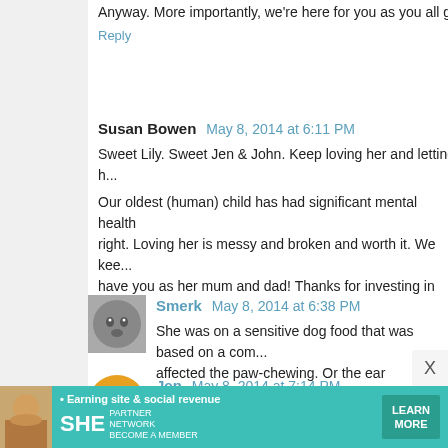Anyway. More importantly, we're here for you as you all go...
Reply
Susan Bowen  May 8, 2014 at 6:11 PM
Sweet Lily. Sweet Jen & John. Keep loving her and letting h...
Our oldest (human) child has had significant mental health... right. Loving her is messy and broken and worth it. We kee... have you as her mum and dad! Thanks for investing in her e...
Reply
[Figure (photo): Avatar photo of Smerk commenter - small dog or animal image]
Smerk  May 8, 2014 at 6:38 PM
She was on a sensitive dog food that was based on a com... affected the paw-chewing. Or the ear infections (which I tot... frustrations we had with her are beginning to be forgotten).... we couldn't isolate her from as well.
Reply
[Figure (logo): Orange blogger avatar icon for Jen commenter]
Jen  May 8, 2014 at 7:14 PM
Jen, if you use Benadryl, watch out how you give it to...
[Figure (infographic): SHE Partner Network advertisement banner - teal background, woman photo, Earning site & social revenue tagline, LEARN MORE button]